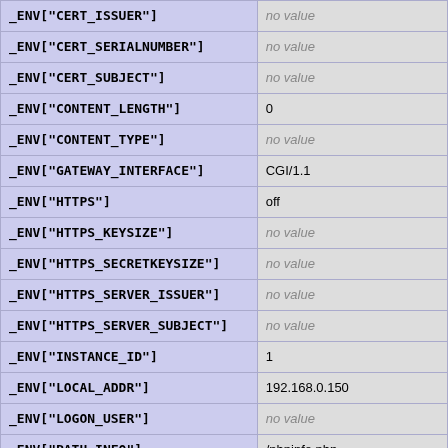| Key | Value |
| --- | --- |
| _ENV["CERT_ISSUER"] | no value |
| _ENV["CERT_SERIALNUMBER"] | no value |
| _ENV["CERT_SUBJECT"] | no value |
| _ENV["CONTENT_LENGTH"] | 0 |
| _ENV["CONTENT_TYPE"] | no value |
| _ENV["GATEWAY_INTERFACE"] | CGI/1.1 |
| _ENV["HTTPS"] | off |
| _ENV["HTTPS_KEYSIZE"] | no value |
| _ENV["HTTPS_SECRETKEYSIZE"] | no value |
| _ENV["HTTPS_SERVER_ISSUER"] | no value |
| _ENV["HTTPS_SERVER_SUBJECT"] | no value |
| _ENV["INSTANCE_ID"] | 1 |
| _ENV["LOCAL_ADDR"] | 192.168.0.150 |
| _ENV["LOGON_USER"] | no value |
| _ENV["PATH_INFO"] | /phpinfo.php |
| _ENV["PATH_TRANSLATED"] | E:\Bnuke\phpinfo.ph |
| _ENV["QUERY_STRING"] | a%5B%5D=%3Ca+hr |
| _ENV["REMOTE_ADDR"] | 44.197.232.83 |
| _ENV["REMOTE_HOST"] | 44.197.232.83 |
| _ENV["REMOTE_USER"] | no value |
| _ENV["REQUEST_METHOD"] | GET |
| _ENV["SCRIPT_NAME"] | /phpinfo.php |